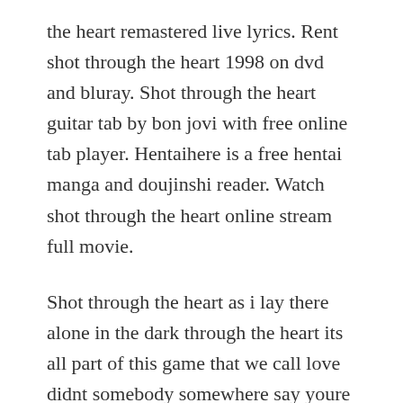the heart remastered live lyrics. Rent shot through the heart 1998 on dvd and bluray. Shot through the heart guitar tab by bon jovi with free online tab player. Hentaihere is a free hentai manga and doujinshi reader. Watch shot through the heart online stream full movie.
Shot through the heart as i lay there alone in the dark through the heart its all part of this game that we call love didnt somebody somewhere say youre gonna take a fall i gave you everything now heres the curtain call and